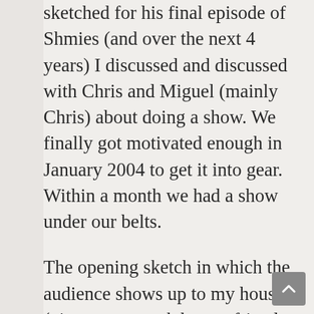sketched for his final episode of Shmies (and over the next 4 years) I discussed and discussed with Chris and Miguel (mainly Chris) about doing a show. We finally got motivated enough in January 2004 to get it into gear. Within a month we had a show under our belts.
The opening sketch in which the audience shows up to my house (via camera work by my friend James) then Chris and I begin talking about doing a show of our own actually took up most of the 30 minute show. We actually cut out quite a bit (I say quite a bit but it was like maybe 5 minutes) to ensure we had some actual comedy in the show (oops, I know I didn't just say that!).
The comics you see at the beginning of the first 6